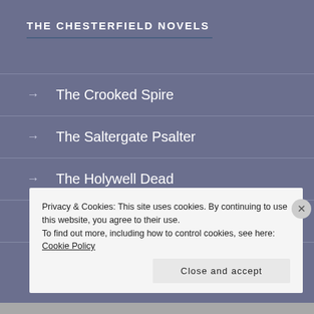THE CHESTERFIELD NOVELS
→ The Crooked Spire
→ The Saltergate Psalter
→ The Holywell Dead
→ The Anchoress of Chesterfield
Privacy & Cookies: This site uses cookies. By continuing to use this website, you agree to their use.
To find out more, including how to control cookies, see here: Cookie Policy